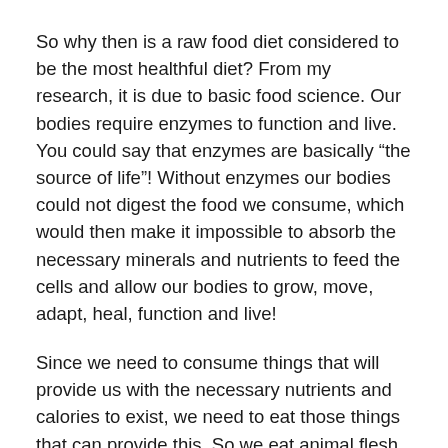So why then is a raw food diet considered to be the most healthful diet? From my research, it is due to basic food science. Our bodies require enzymes to function and live. You could say that enzymes are basically “the source of life”! Without enzymes our bodies could not digest the food we consume, which would then make it impossible to absorb the necessary minerals and nutrients to feed the cells and allow our bodies to grow, move, adapt, heal, function and live!
Since we need to consume things that will provide us with the necessary nutrients and calories to exist, we need to eat those things that can provide this. So we eat animal flesh, plants, seeds, nuts, and such for that purpose. All these things have enzymes. However, some of these things we eat can not be eaten in their natural living state. We are not equipped to breakdown these things, such as animal flesh, in order to properly